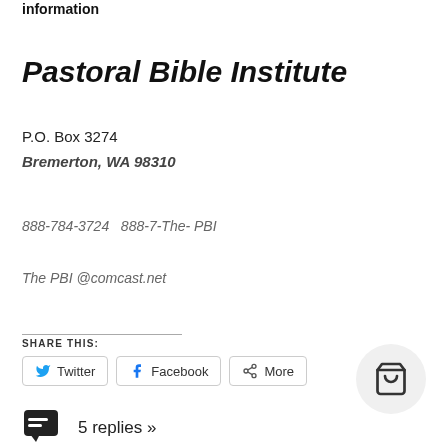information
Pastoral Bible Institute
P.O. Box 3274
Bremerton, WA 98310
888-784-3724   888-7-The- PBI
The PBI @comcast.net
SHARE THIS:
Twitter  Facebook  More
5 replies »